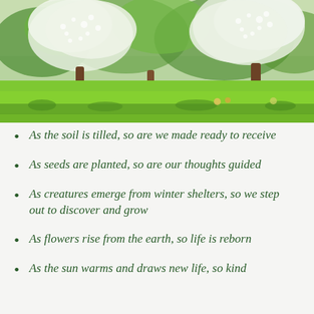[Figure (photo): A spring garden scene with blooming white-flowered trees above a bright green lawn, with trees and foliage in the background under a bright sky.]
As the soil is tilled, so are we made ready to receive
As seeds are planted, so are our thoughts guided
As creatures emerge from winter shelters, so we step out to discover and grow
As flowers rise from the earth, so life is reborn
As the sun warms and draws new life, so kind